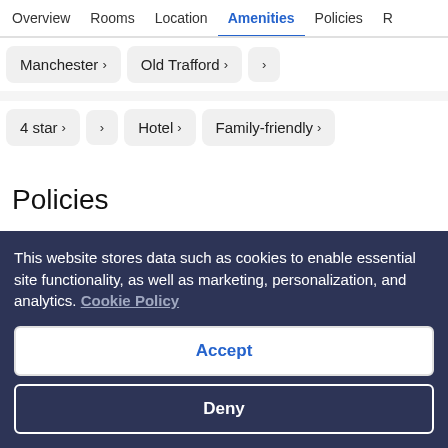Overview  Rooms  Location  Amenities  Policies  R
Manchester >
Old Trafford >
>
4 star >
>
Hotel >
Family-friendly >
Policies
Check-in
This website stores data such as cookies to enable essential site functionality, as well as marketing, personalization, and analytics. Cookie Policy
Accept
Deny